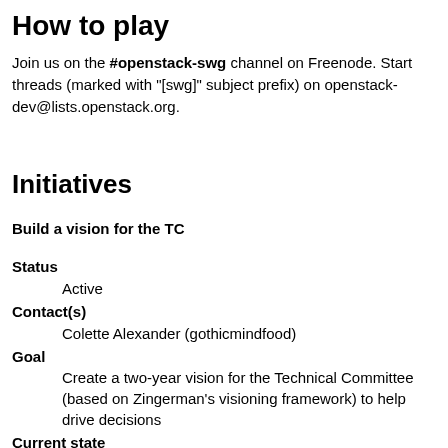How to play
Join us on the #openstack-swg channel on Freenode. Start threads (marked with "[swg]" subject prefix) on openstack-dev@lists.openstack.org.
Initiatives
Build a vision for the TC
Status
    Active
Contact(s)
    Colette Alexander (gothicmindfood)
Goal
    Create a two-year vision for the Technical Committee (based on Zingerman's visioning framework) to help drive decisions
Current state
    Draft vision was built in an in-person workshop in Boston